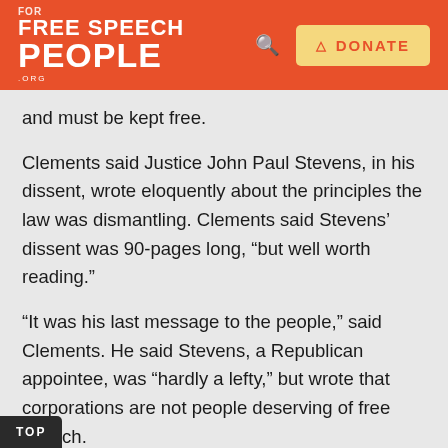FREE SPEECH FOR PEOPLE .ORG — DONATE
and must be kept free.
Clements said Justice John Paul Stevens, in his dissent, wrote eloquently about the principles the law was dismantling. Clements said Stevens’ dissent was 90-pages long, “but well worth reading.”
“It was his last message to the people,” said Clements. He said Stevens, a Republican appointee, was “hardly a lefty,” but wrote that corporations are not people deserving of free speech.